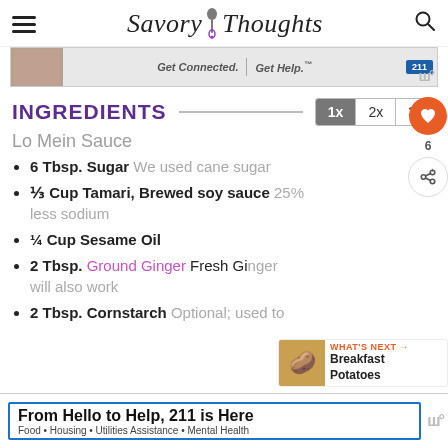Savory Thoughts
[Figure (screenshot): Advertisement banner: person smiling, text partially visible 'Get Connected. Get Help.']
INGREDIENTS
Lo Mein Sauce
6 Tbsp. Sugar We used cane sugar
⅓ Cup Tamari, Brewed soy sauce 25% less sodium
¼ Cup Sesame Oil
2 Tbsp. Ground Ginger Fresh Ginger will also work
2 Tbsp. Cornstarch Optional; used to
[Figure (screenshot): Advertisement: 'From Hello to Help, 211 is Here' - Food, Housing, Utilities Assistance, Mental Health]